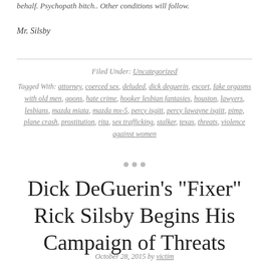behalf. Psychopath bitch.. Other conditions will follow.
Mr. Silsby
Filed Under: Uncategorized
Tagged With: attorney, coerced sex, deluded, dick deguerin, escort, fake orgasms with old men, goons, hate crime, hooker lesbian fantasies, houston, lawyers, lesbians, mazda miata, mazda mx-5, percy isgitt, percy lawayne isgitt, pimp, plane crash, prostitution, rita, sex trafficking, stalker, texas, threats, violence against women
Dick DeGuerin's "Fixer" Rick Silsby Begins His Campaign of Threats
October 28, 2015 by victim